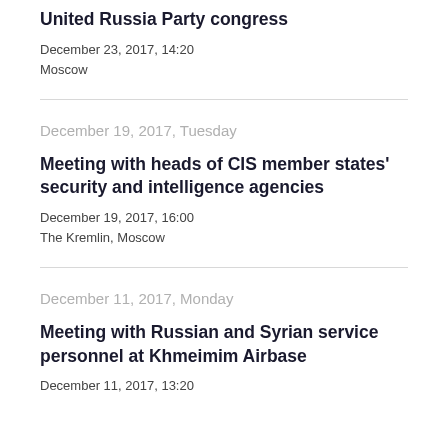United Russia Party congress
December 23, 2017, 14:20
Moscow
December 19, 2017, Tuesday
Meeting with heads of CIS member states' security and intelligence agencies
December 19, 2017, 16:00
The Kremlin, Moscow
December 11, 2017, Monday
Meeting with Russian and Syrian service personnel at Khmeimim Airbase
December 11, 2017, 13:20